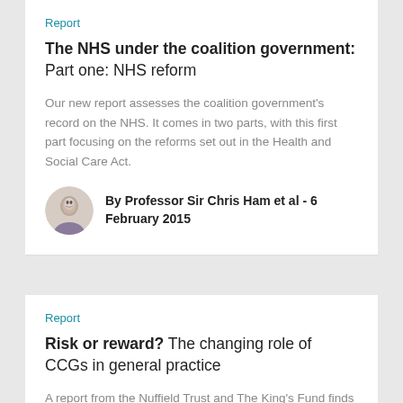Report
The NHS under the coalition government: Part one: NHS reform
Our new report assesses the coalition government's record on the NHS. It comes in two parts, with this first part focusing on the reforms set out in the Health and Social Care Act.
By Professor Sir Chris Ham et al - 6 February 2015
Report
Risk or reward? The changing role of CCGs in general practice
A report from the Nuffield Trust and The King's Fund finds that CCGs risk becoming unsustainable without changes to